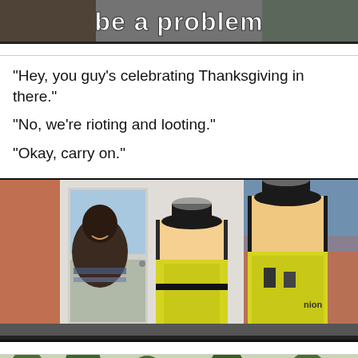[Figure (photo): Partial top image showing text 'be a problem' on dark background with a figure partially visible]
"Hey, you guy's celebrating Thanksgiving in there."
"No, we're rioting and looting."
"Okay, carry on."
[Figure (photo): Photo of two police officers in high-visibility yellow vests and black hats smiling and talking to a woman at a doorway of a brick house]
[Figure (photo): Partial bottom image showing outdoor scene with trees in background]